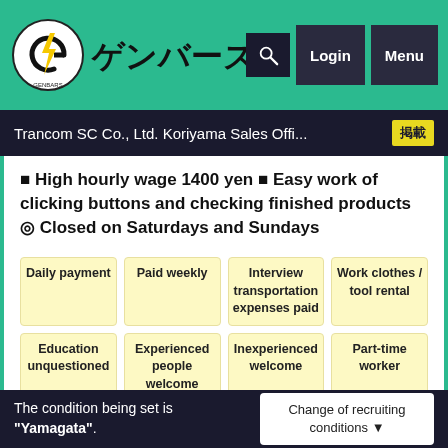[Figure (logo): Genbas (ゲンバーズ) logo with lightning bolt icon in green circle, plus Login and Menu navigation buttons]
Trancom SC Co., Ltd. Koriyama Sales Offi...
■ High hourly wage 1400 yen ■ Easy work of clicking buttons and checking finished products ◎ Closed on Saturdays and Sundays
Daily payment
Paid weekly
Interview transportation expenses paid
Work clothes / tool rental
Education unquestioned
Experienced people welcome
Inexperienced welcome
Part-time worker
There is a dormitory
Full company insurance
Email application
Job   Production staff
The condition being set is "Yamagata".   Change of recruiting conditions ▼